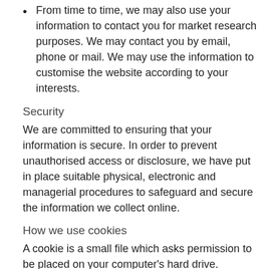From time to time, we may also use your information to contact you for market research purposes. We may contact you by email, phone or mail. We may use the information to customise the website according to your interests.
Security
We are committed to ensuring that your information is secure. In order to prevent unauthorised access or disclosure, we have put in place suitable physical, electronic and managerial procedures to safeguard and secure the information we collect online.
How we use cookies
A cookie is a small file which asks permission to be placed on your computer's hard drive. Depending on your browser settings, cookies from us may be automatically enabled or you may be explicitly asked to accept them. Cookies help analyse web traffic or lets